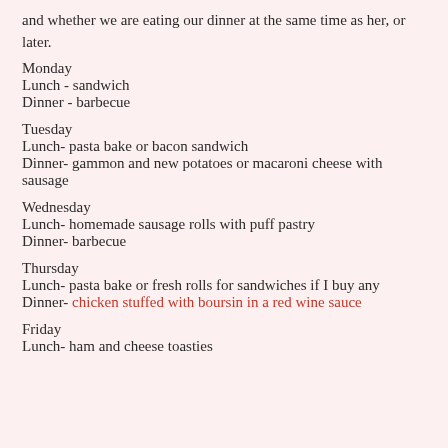and whether we are eating our dinner at the same time as her, or later.
Monday
Lunch - sandwich
Dinner - barbecue
Tuesday
Lunch- pasta bake or bacon sandwich
Dinner- gammon and new potatoes or macaroni cheese with sausage
Wednesday
Lunch- homemade sausage rolls with puff pastry
Dinner- barbecue
Thursday
Lunch- pasta bake or fresh rolls for sandwiches if I buy any
Dinner- chicken stuffed with boursin in a red wine sauce
Friday
Lunch- ham and cheese toasties